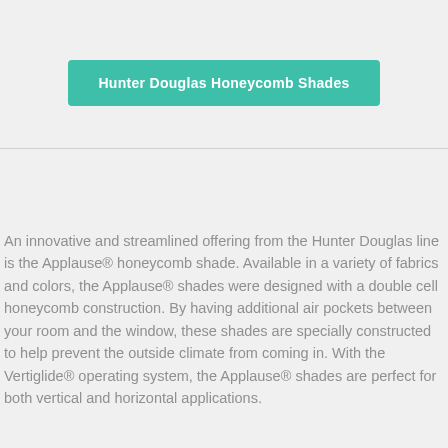Hunter Douglas Honeycomb Shades
An innovative and streamlined offering from the Hunter Douglas line is the Applause® honeycomb shade. Available in a variety of fabrics and colors, the Applause® shades were designed with a double cell honeycomb construction. By having additional air pockets between your room and the window, these shades are specially constructed to help prevent the outside climate from coming in. With the Vertiglide® operating system, the Applause® shades are perfect for both vertical and horizontal applications.